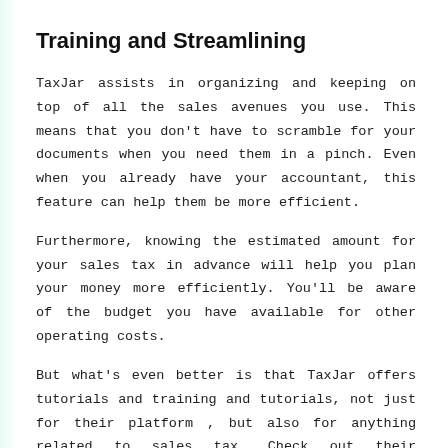Training and Streamlining
TaxJar assists in organizing and keeping on top of all the sales avenues you use. This means that you don't have to scramble for your documents when you need them in a pinch. Even when you already have your accountant, this feature can help them be more efficient.
Furthermore, knowing the estimated amount for your sales tax in advance will help you plan your money more efficiently. You'll be aware of the budget you have available for other operating costs.
But what's even better is that TaxJar offers tutorials and training and tutorials, not just for their platform , but also for anything related to sales tax. Check out their webinars, guides and blog for more details. Apart from that their sales tax calculator is